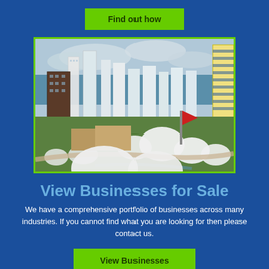Find out how
[Figure (photo): Aerial view of a coastal city with high-rise buildings, green park areas with white dome structures, and ocean in the background]
View Businesses for Sale
We have a comprehensive portfolio of businesses across many industries. If you cannot find what you are looking for then please contact us.
View Businesses